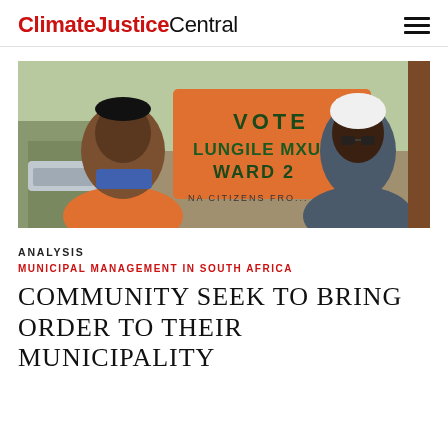ClimateJusticeCentral
[Figure (photo): Two people standing next to an orange campaign sign reading 'VOTE LUNGILE MXUBE WARD 2' with text 'NA CITIZENS FRO...' at the bottom. The man on the left wears an orange shirt, the woman on the right wears a white headwrap and sunglasses and a grey 'REGISTER TO VOTE' t-shirt.]
ANALYSIS
MUNICIPAL MANAGEMENT IN SOUTH AFRICA
COMMUNITY SEEK TO BRING ORDER TO THEIR MUNICIPALITY